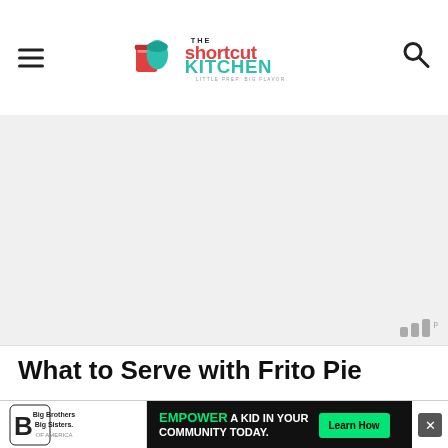The Shortcut Kitchen — Little Prep. Big Flavor.
[Figure (photo): Large hero image area, light gray placeholder, with Wistia video watermark in bottom-right corner]
What to Serve with Frito Pie
Ever tried... stand on it...
[Figure (infographic): Advertisement banner: Big Brothers Big Sisters logo on left, black background ad reading EMPOWER A KID IN YOUR COMMUNITY TODAY. with green Learn How button, and X close button.]